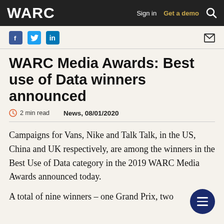WARC | Sign in | Get a demo
[Figure (other): Social media icons: Facebook, Twitter, LinkedIn, and email/envelope icon]
WARC Media Awards: Best use of Data winners announced
2 min read   News, 08/01/2020
Campaigns for Vans, Nike and Talk Talk, in the US, China and UK respectively, are among the winners in the Best Use of Data category in the 2019 WARC Media Awards announced today.
A total of nine winners – one Grand Prix, two